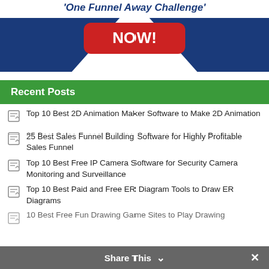[Figure (screenshot): Banner image for 'One Funnel Away Challenge' with a red NOW! button and blue diagonal shapes on a white background]
Recent Posts
Top 10 Best 2D Animation Maker Software to Make 2D Animation
25 Best Sales Funnel Building Software for Highly Profitable Sales Funnel
Top 10 Best Free IP Camera Software for Security Camera Monitoring and Surveillance
Top 10 Best Paid and Free ER Diagram Tools to Draw ER Diagrams
10 Best Free Fun Drawing Game Sites to Play Drawing
Share This ✓ ×